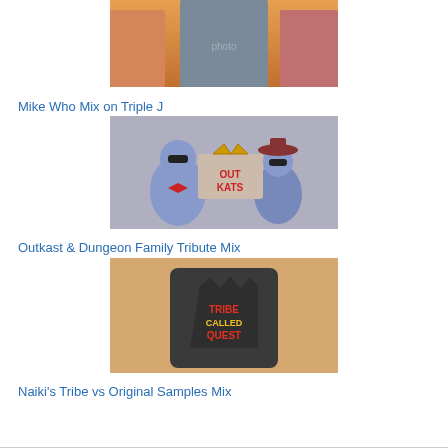[Figure (photo): Photo of a man with sunglasses and gold chain flanked by two women in bikinis at a beach/sunset scene]
Mike Who Mix on Triple J
[Figure (illustration): Outkast cartoon illustration showing two animated characters with sunglasses and the Outkast crown logo in red text]
Outkast & Dungeon Family Tribute Mix
[Figure (photo): Photo of a person wearing a dark crop top with 'A Tribe Called Quest' graphic in colorful graffiti-style text]
Naiki's Tribe vs Original Samples Mix